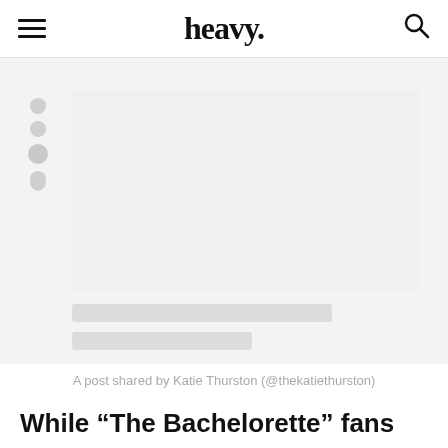heavy.
[Figure (screenshot): Blurred/loading social media embed placeholder with grey skeleton icons and bars, representing a Katie Thurston Instagram post]
A post shared by Katie Thurston (@thekatiethurston)
While “The Bachelorette” fans were torn over
whether Thurston’s original post was a breakup announcement or something less serious. Here’s